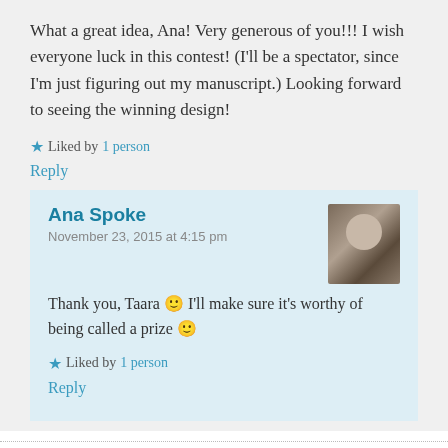What a great idea, Ana! Very generous of you!!! I wish everyone luck in this contest! (I'll be a spectator, since I'm just figuring out my manuscript.) Looking forward to seeing the winning design!
Liked by 1 person
Reply
Ana Spoke
November 23, 2015 at 4:15 pm
Thank you, Taara 🙂 I'll make sure it's worthy of being called a prize 🙂
Liked by 1 person
Reply
Pingback: Ninja at Law – The mighty pitch |